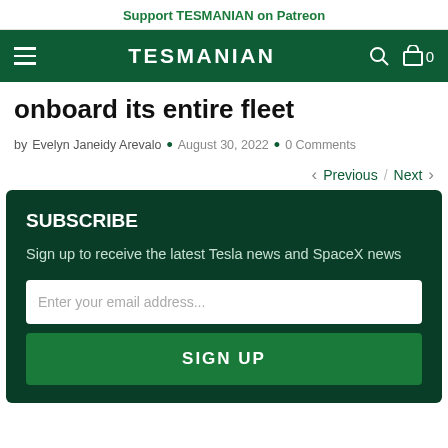Support TESMANIAN on Patreon
TESMANIAN
onboard its entire fleet
by Evelyn Janeidy Arevalo • August 30, 2022 • 0 Comments
< Previous / Next >
SUBSCRIBE
Sign up to receive the latest Tesla news and SpaceX news
Enter your email address...
SIGN UP